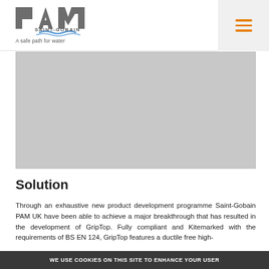PAM SAINT-GOBAIN — A safe path for water
[Figure (photo): Grey placeholder image area representing a product or case study photo]
Solution
Through an exhaustive new product development programme Saint-Gobain PAM UK have been able to achieve a major breakthrough that has resulted in the development of GripTop. Fully compliant and Kitemarked with the requirements of BS EN 124, GripTop features a ductile free high-
WE USE COOKIES ON THIS SITE TO ENHANCE YOUR USER